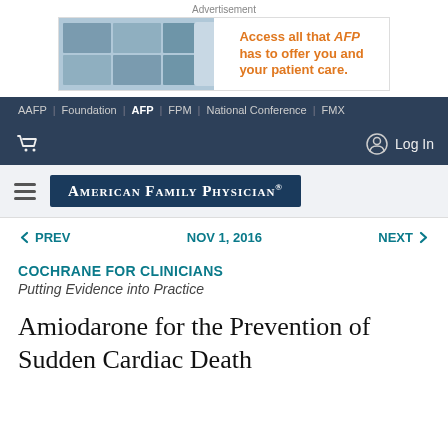[Figure (screenshot): Advertisement banner for AFP (American Family Physician) showing medical images on left, a device, and text 'Access all that AFP has to offer you and your patient care.' in orange on right]
AAFP | Foundation | AFP | FPM | National Conference | FMX
Log In
[Figure (logo): American Family Physician logo — white text on dark navy blue background]
← PREV   NOV 1, 2016   NEXT →
COCHRANE FOR CLINICIANS
Putting Evidence into Practice
Amiodarone for the Prevention of Sudden Cardiac Death